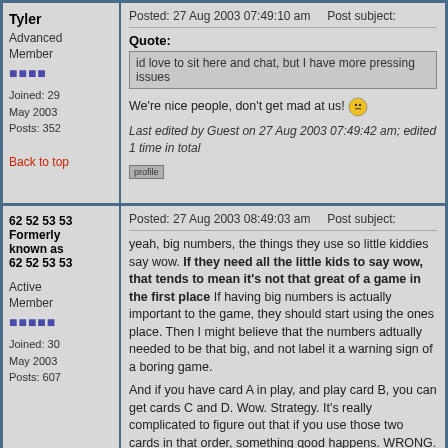Tyler
Advanced Member
Joined: 29 May 2003
Posts: 352
Back to top
Posted: 27 Aug 2003 07:49:10 am    Post subject:
Quote:
id love to sit here and chat, but I have more pressing issues
We're nice people, don't get mad at us!
Last edited by Guest on 27 Aug 2003 07:49:42 am; edited 1 time in total
62 52 53 53
Formerly known as
62 52 53 53
Active Member
Joined: 30 May 2003
Posts: 607
Posted: 27 Aug 2003 08:49:03 am    Post subject:
yeah, big numbers, the things they use so little kiddies say wow. If they need all the little kids to say wow, that tends to mean it's not that great of a game in the first place If having big numbers is actually important to the game, they should start using the ones place. Then I might believe that the numbers adtually needed to be that big, and not label it a warning sign of a boring game.
And if you have card A in play, and play card B, you can get cards C and D. Wow. Strategy. It's really complicated to figure out that if you use those two cards in that order, something good happens. WRONG. However, in magic, two cards without refferences to eachother can interact to win you the game.